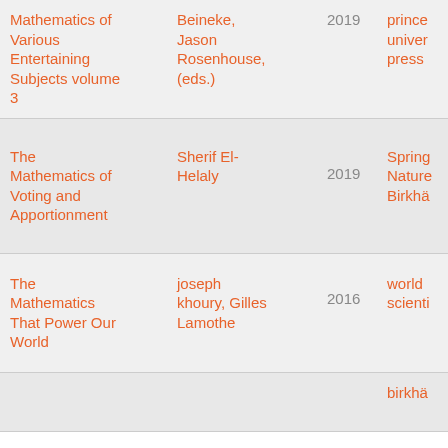| Title | Author | Year | Publisher |
| --- | --- | --- | --- |
| Mathematics of Various Entertaining Subjects volume 3 | Beineke, Jason Rosenhouse, (eds.) | 2019 | prince university press |
| The Mathematics of Voting and Apportionment | Sherif El-Helaly | 2019 | Springer Nature Birkhä... |
| The Mathematics That Power Our World | joseph khoury, Gilles Lamothe | 2016 | world scienti... |
|  |  |  | birkhä... |